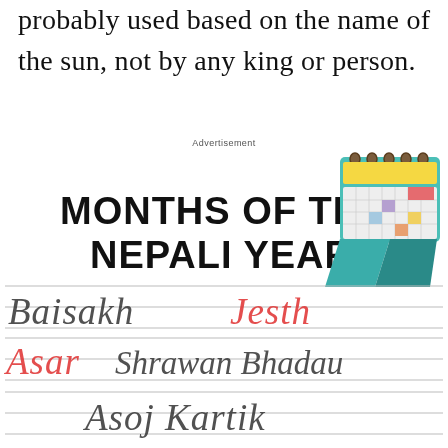probably used based on the name of the sun, not by any king or person.
Advertisement
[Figure (illustration): Educational worksheet showing 'MONTHS OF THE NEPALI YEAR' with a cartoon calendar illustration and dotted tracing text of Nepali month names: Baisakh, Jesth (in red), Asar, Shrawan, Bhadau, Asoj, Kartik]
Baisakh  Jesth
Asar  Shrawan  Bhadau
Asoj  Kartik